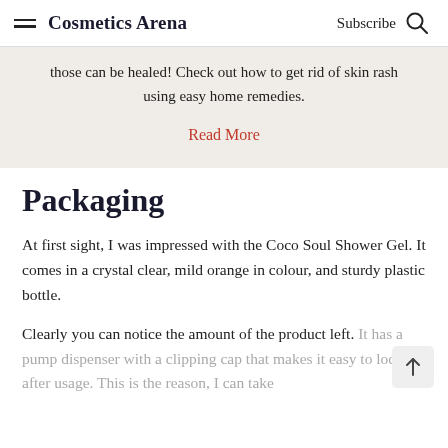Cosmetics Arena  Subscribe
those can be healed! Check out how to get rid of skin rash using easy home remedies.
Read More
Packaging
At first sight, I was impressed with the Coco Soul Shower Gel. It comes in a crystal clear, mild orange in colour, and sturdy plastic bottle.
Clearly you can notice the amount of the product left. It has a pump dispenser with a clipping cap that makes it easy to lock after usage. This is the reason, I can take